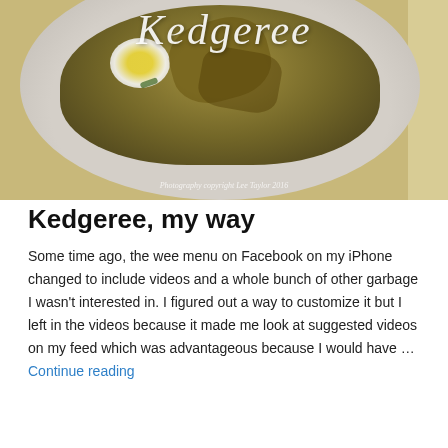[Figure (photo): A white plate with kedgeree dish – curried rice with flaked fish and a soft-boiled egg visible in the center. The word 'Kedgeree' is overlaid in white cursive script at the top of the image. A small copyright text reads 'Photography copyright Lee Taylor 2016' at the bottom of the image.]
Kedgeree, my way
Some time ago, the wee menu on Facebook on my iPhone changed to include videos and a whole bunch of other garbage I wasn't interested in. I figured out a way to customize it but I left in the videos because it made me look at suggested videos on my feed which was advantageous because I would have … Continue reading